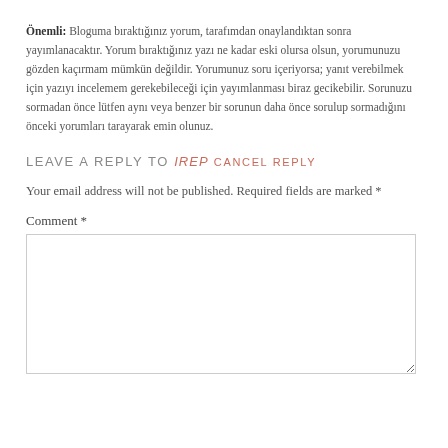Önemli: Bloguma bıraktığınız yorum, tarafımdan onaylandıktan sonra yayımlanacaktır. Yorum bıraktığınız yazı ne kadar eski olursa olsun, yorumunuzu gözden kaçırmam mümkün değildir. Yorumunuz soru içeriyorsa; yanıt verebilmek için yazıyı incelemem gerekebileceği için yayımlanması biraz gecikebilir. Sorunuzu sormadan önce lütfen aynı veya benzer bir sorunun daha önce sorulup sormadığını önceki yorumları tarayarak emin olunuz.
LEAVE A REPLY TO IREP CANCEL REPLY
Your email address will not be published. Required fields are marked *
Comment *